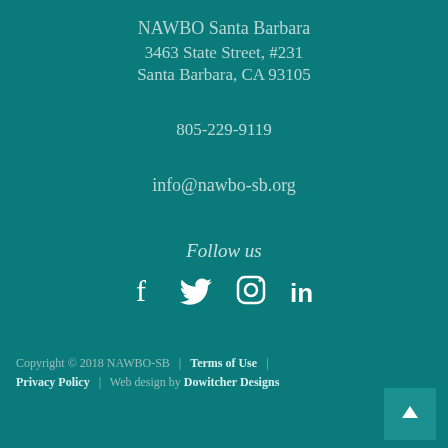NAWBO Santa Barbara
3463 State Street, #231
Santa Barbara, CA 93105
805-229-9119
info@nawbo-sb.org
Follow us
[Figure (infographic): Social media icons: Facebook, Twitter, Instagram, LinkedIn]
Copyright © 2018 NAWBO-SB | Terms of Use | Privacy Policy | Web design by Dowitcher Designs